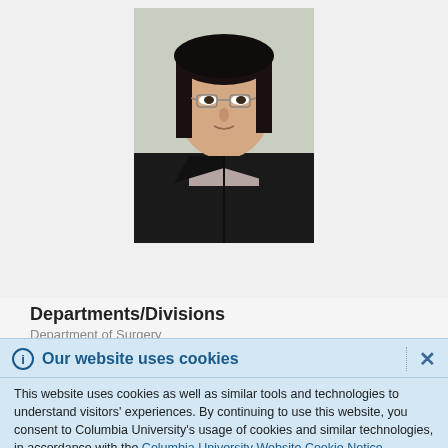[Figure (photo): Profile photograph of a woman with short dark hair and glasses, wearing a black jacket over a striped top, photographed against a light background.]
Departments/Divisions
Department of Surgery
Our website uses cookies
This website uses cookies as well as similar tools and technologies to understand visitors' experiences. By continuing to use this website, you consent to Columbia University's usage of cookies and similar technologies, in accordance with the Columbia University Website Cookie Notice.